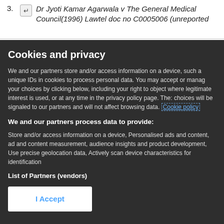3. ↵ Dr Jyoti Kamar Agarwala v The General Medical Council(1996) Lawtel doc no C0005006 (unreported
Cookies and privacy
We and our partners store and/or access information on a device, such as unique IDs in cookies to process personal data. You may accept or manage your choices by clicking below, including your right to object where legitimate interest is used, or at any time in the privacy policy page. These choices will be signaled to our partners and will not affect browsing data. Cookie policy
We and our partners process data to provide:
Store and/or access information on a device, Personalised ads and content, ad and content measurement, audience insights and product development, Use precise geolocation data, Actively scan device characteristics for identification
List of Partners (vendors)
I Accept